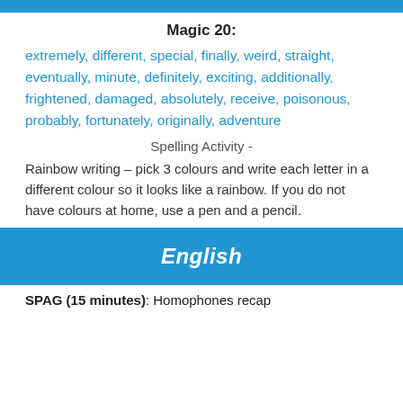Magic 20:
extremely, different, special, finally, weird, straight, eventually, minute, definitely, exciting, additionally, frightened, damaged, absolutely, receive, poisonous, probably, fortunately, originally, adventure
Spelling Activity -
Rainbow writing – pick 3 colours and write each letter in a different colour so it looks like a rainbow. If you do not have colours at home, use a pen and a pencil.
English
SPAG (15 minutes): Homophones recap